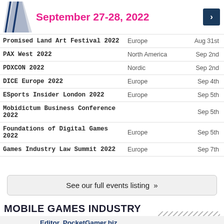[Figure (other): Top banner with logo graphic, date text 'September 27-28, 2022' in pink/magenta, and a dark blue arrow button]
| Event | Region | Date |
| --- | --- | --- |
| Promised Land Art Festival 2022 | Europe | Aug 31st |
| PAX West 2022 | North America | Sep 2nd |
| PDXCON 2022 | Nordic | Sep 2nd |
| DICE Europe 2022 | Europe | Sep 4th |
| ESports Insider London 2022 | Europe | Sep 5th |
| Mobidictum Business Conference 2022 |  | Sep 5th |
| Foundations of Digital Games 2022 | Europe | Sep 5th |
| Games Industry Law Summit 2022 | Europe | Sep 7th |
See our full events listing »
MOBILE GAMES INDUSTRY JOBS
Editor, PocketGamer.biz — Working From Home, (Not Specified)
Event Content Producer — Working From Home, (Not Specified)
F2P LIVE CONTENT DESIGNER (F/M/D) — Munich, Germany